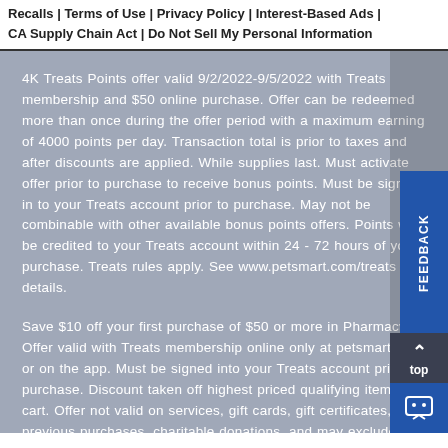Recalls | Terms of Use | Privacy Policy | Interest-Based Ads | CA Supply Chain Act | Do Not Sell My Personal Information
4K Treats Points offer valid 9/2/2022-9/5/2022 with Treats membership and $50 online purchase. Offer can be redeemed more than once during the offer period with a maximum earning of 4000 points per day. Transaction total is prior to taxes and after discounts are applied. While supplies last. Must activate offer prior to purchase to receive bonus points. Must be signed in to your Treats account prior to purchase. May not be combinable with other available bonus points offers. Points will be credited to your Treats account within 24 - 72 hours of your purchase. Treats rules apply. See www.petsmart.com/treats for details.
Save $10 off your first purchase of $50 or more in Pharmacy. Offer valid with Treats membership online only at petsmart.com or on the app. Must be signed into your Treats account prior to purchase. Discount taken off highest priced qualifying item in cart. Offer not valid on services, gift cards, gift certificates, previous purchases, charitable donations, and may exclude all or select items from various brands. Offer may not be combined with other promotional offers or discounts and specifically excludes any available Autoship offers. Limited to one time per customer during the offer period. Transaction total is prior